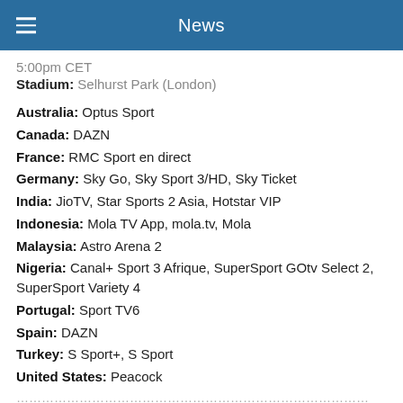News
5:00pm CET
Stadium: Selhurst Park (London)
Australia: Optus Sport
Canada: DAZN
France: RMC Sport en direct
Germany: Sky Go, Sky Sport 3/HD, Sky Ticket
India: JioTV, Star Sports 2 Asia, Hotstar VIP
Indonesia: Mola TV App, mola.tv, Mola
Malaysia: Astro Arena 2
Nigeria: Canal+ Sport 3 Afrique, SuperSport GOtv Select 2, SuperSport Variety 4
Portugal: Sport TV6
Spain: DAZN
Turkey: S Sport+, S Sport
United States: Peacock